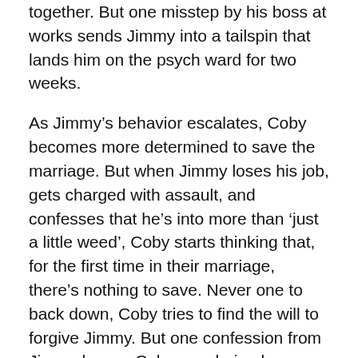together. But one misstep by his boss at works sends Jimmy into a tailspin that lands him on the psych ward for two weeks.
As Jimmy's behavior escalates, Coby becomes more determined to save the marriage. But when Jimmy loses his job, gets charged with assault, and confesses that he's into more than 'just a little weed', Coby starts thinking that, for the first time in their marriage, there's nothing to save. Never one to back down, Coby tries to find the will to forgive Jimmy. But one confession from Jimmy leaves Coby wondering how many second chances he has left to give.
RESCUE ME is dual POV, LGBT contemporary fiction complete at 84,000 words. My short story 'Anguish' was published in the anthology 'Winter's Regret' by Elephant Bookshelf Press in 2014. Thank you for your